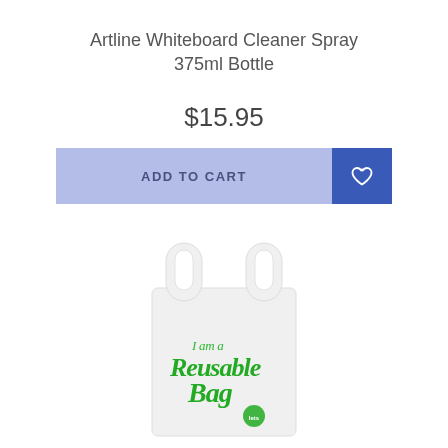Artline Whiteboard Cleaner Spray 375ml Bottle
$15.95
ADD TO CART
[Figure (photo): A white reusable shopping bag with green script text reading 'I am a Reusable Bag' with a small circular logo at the bottom]